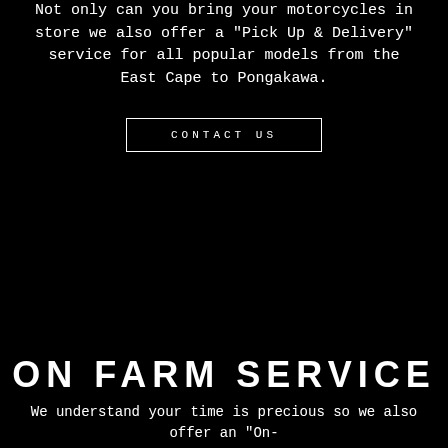Not only can you bring your motorcycles in store we also offer a "Pick Up & Delivery" service for all popular models from the East Cape to Pongakawa.
CONTACT US
ON FARM SERVICE
We understand your time is precious so we also offer an "On-